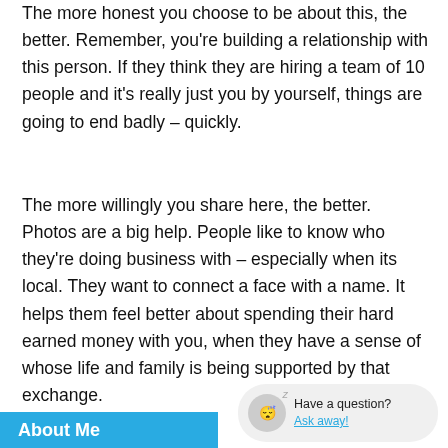The more honest you choose to be about this, the better. Remember, you're building a relationship with this person. If they think they are hiring a team of 10 people and it's really just you by yourself, things are going to end badly – quickly.
The more willingly you share here, the better. Photos are a big help. People like to know who they're doing business with – especially when its local. They want to connect a face with a name. It helps them feel better about spending their hard earned money with you, when they have a sense of whose life and family is being supported by that exchange.
About Me